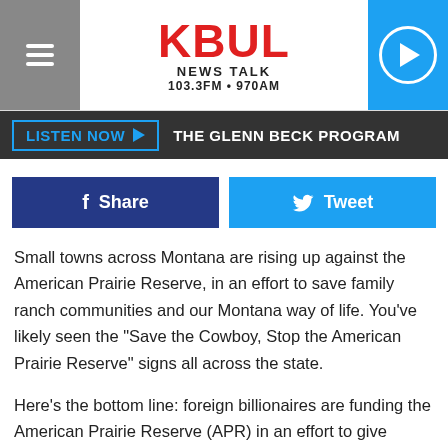[Figure (logo): KBUL News Talk 103.3FM 970AM radio station logo with hamburger menu on left and play button on right]
LISTEN NOW ▶  THE GLENN BECK PROGRAM
[Figure (infographic): Facebook Share button and Twitter Tweet button]
Small towns across Montana are rising up against the American Prairie Reserve, in an effort to save family ranch communities and our Montana way of life. You've likely seen the "Save the Cowboy, Stop the American Prairie Reserve" signs all across the state.
Here's the bottom line: foreign billionaires are funding the American Prairie Reserve (APR) in an effort to give Montana cowboys and ranchers the boot.
Another way that APR allies are looking to remove ranchers